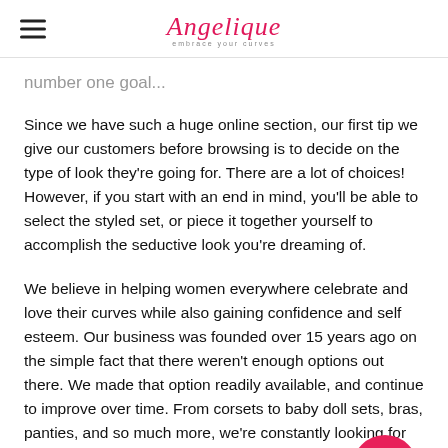Angelique (logo)
number one goal...
Since we have such a huge online section, our first tip we give our customers before browsing is to decide on the type of look they're going for. There are a lot of choices! However, if you start with an end in mind, you'll be able to select the styled set, or piece it together yourself to accomplish the seductive look you're dreaming of.
We believe in helping women everywhere celebrate and love their curves while also gaining confidence and self esteem. Our business was founded over 15 years ago on the simple fact that there weren't enough options out there. We made that option readily available, and continue to improve over time. From corsets to baby doll sets, bras, panties, and so much more, we're constantly looking for new styles to have in stock that fit our customer's wants and desires.
We recommend all of our new visitors to be bold and experiment with their first purchase. Self exploration ti...